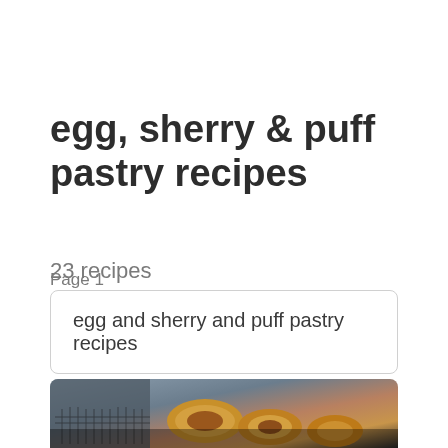egg, sherry & puff pastry recipes
23 recipes
Page 1
egg and sherry and puff pastry recipes
[Figure (photo): Close-up photo of puff pastry rolls/swirls on a dark background, likely filled with a dark filling, placed on a wire rack]